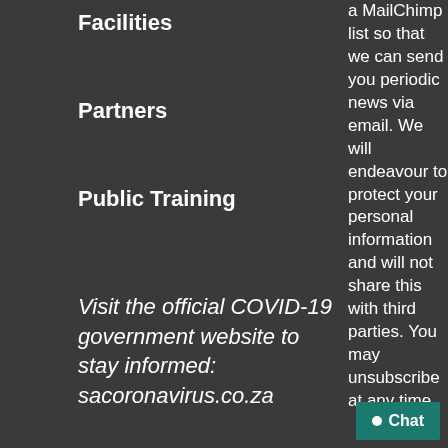Facilities
Partners
Public Training
Visit the official COVID-19 government website to stay informed: sacoronavirus.co.za
a MailChimp list so that we can send you periodic news via email. We will endeavour to protect your personal information and will not share this with third parties. You may unsubscribe at any time.